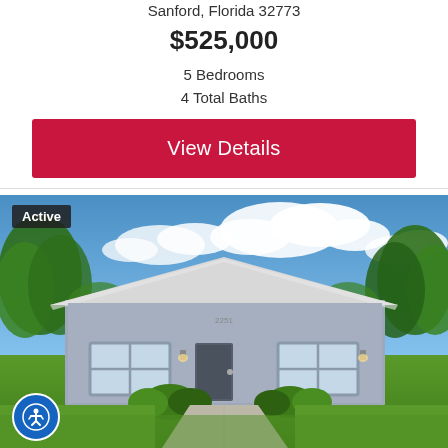Sanford, Florida 32773
$525,000
5 Bedrooms
4 Total Baths
View Details
[Figure (photo): Exterior photo of a single-story gray stucco house with white trim roof, two white windows on facade, green lawn and landscaping, blue sky with clouds, concrete driveway. Active listing badge in top-left corner. Accessibility icon button in bottom-left.]